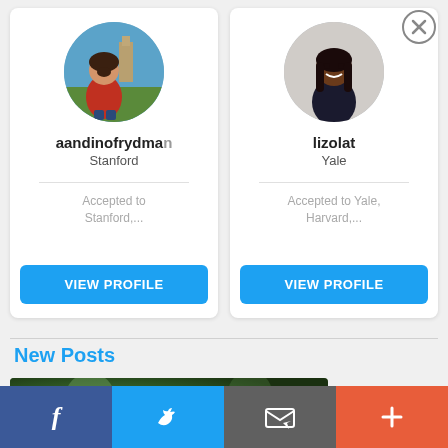[Figure (screenshot): Profile card for user 'aandinofrydman' at Stanford with circular avatar photo of a young woman outdoors, accepted to Stanford, with VIEW PROFILE button]
[Figure (screenshot): Profile card for user 'lizolat' at Yale with circular avatar photo of a young woman, accepted to Yale, Harvard, with VIEW PROFILE button]
[Figure (illustration): Close (X) button circle in top right corner]
New Posts
[Figure (photo): Partial photo of outdoor/nature scene in green tones, appears to show hands]
[Figure (infographic): Bottom navigation bar with four buttons: Facebook (f), Twitter (bird), Email/envelope, and Plus (+) in blue, dark blue, gray, and orange-red respectively]